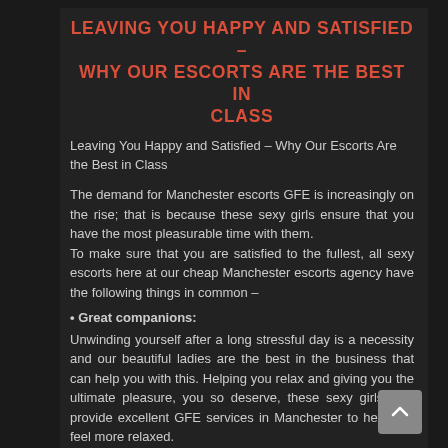LEAVING YOU HAPPY AND SATISFIED – WHY OUR ESCORTS ARE THE BEST IN CLASS
Leaving You Happy and Satisfied – Why Our Escorts Are the Best in Class
The demand for Manchester escorts GFE is increasingly on the rise; that is because these sexy girls ensure that you have the most pleasurable time with them.
To make sure that you are satisfied to the fullest, all sexy escorts here at our cheap Manchester escorts agency have the following things in common –
• Great companions:
Unwinding yourself after a long stressful day is a necessity and our beautiful ladies are the best in the business that can help you with this. Helping you relax and giving you the ultimate pleasure, you so deserve, these sexy girls also provide excellent GFE services in Manchester to help you feel more relaxed.
• Boosts Energy:
These sexy girls' sensual nature and erotic charms will